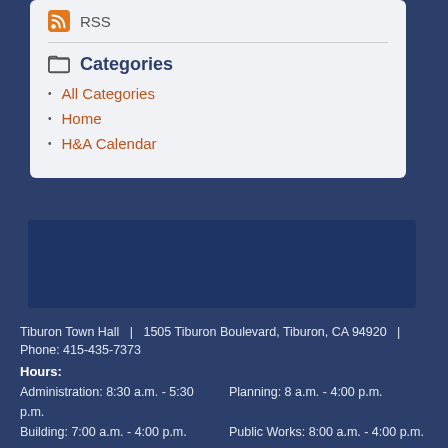RSS
Categories
All Categories
Home
H&A Calendar
[Figure (other): Dark blue decorative banner box]
Tiburon Town Hall | 1505 Tiburon Boulevard, Tiburon, CA 94920 | Phone: 415-435-7373
Hours:
Administration: 8:30 a.m. - 5:30 p.m. Planning: 8 a.m. - 4:00 p.m.
Building: 7:00 a.m. - 4:00 p.m. Public Works: 8:00 a.m. - 4:00 p.m.